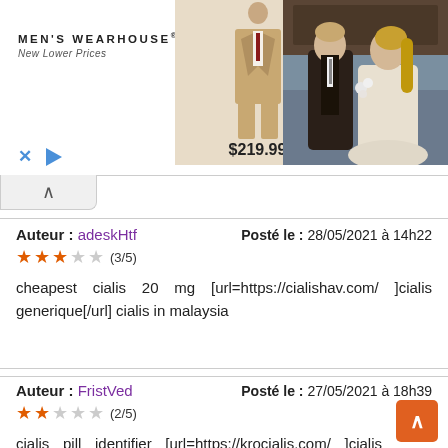[Figure (screenshot): Men's Wearhouse advertisement banner showing a tan suit priced at $219.99 and a wedding couple photo on the right]
Auteur : adeskHtf
★★★☆☆ (3/5)
Posté le : 28/05/2021 à 14h22
cheapest cialis 20 mg [url=https://cialishav.com/ ]cialis generique[/url] cialis in malaysia
Auteur : FristVed
★★☆☆☆ (2/5)
Posté le : 27/05/2021 à 18h39
cialis pill identifier [url=https://krocialis.com/ ]cialis pharmacy[/url] cialis recommended dosage